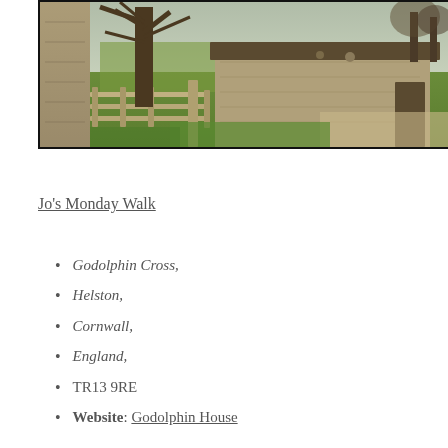[Figure (photo): Photograph of Godolphin House estate showing a stone barn, wooden fence, stone wall, and bare trees with green grass on a grey overcast day in Cornwall, England.]
Jo's Monday Walk
Godolphin Cross,
Helston,
Cornwall,
England,
TR13 9RE
Website: Godolphin House